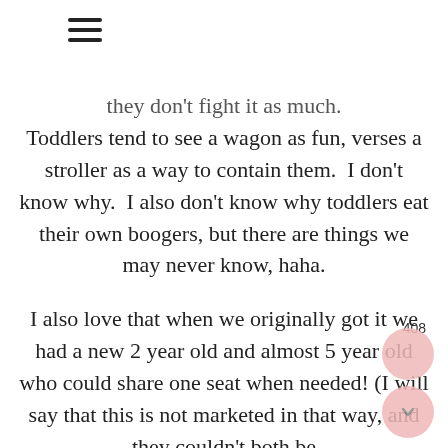[Figure (other): Hamburger menu icon (three horizontal lines)]
they don't fight it as much. Toddlers tend to see a wagon as fun, verses a stroller as a way to contain them.  I don't know why.  I also don't know why toddlers eat their own boogers, but there are things we may never know, haha.
I also love that when we originally got it we had a new 2 year old and almost 5 year old who could share one seat when needed! (I will say that this is not marketed in that way, and they couldn't both be belted in, but it did help on the